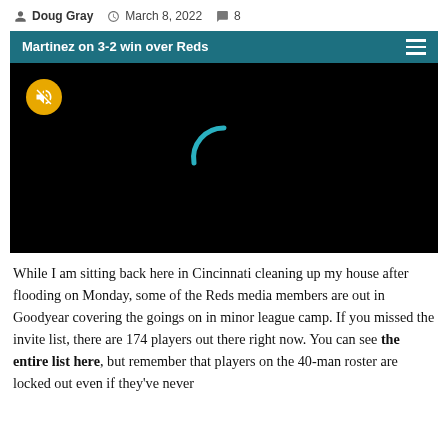Doug Gray  March 8, 2022  8
[Figure (screenshot): Embedded video player with teal header bar reading 'Martinez on 3-2 win over Reds', black video screen showing a loading spinner and a muted (yellow) button in the top left corner.]
While I am sitting back here in Cincinnati cleaning up my house after flooding on Monday, some of the Reds media members are out in Goodyear covering the goings on in minor league camp. If you missed the invite list, there are 174 players out there right now. You can see the entire list here, but remember that players on the 40-man roster are locked out even if they've never